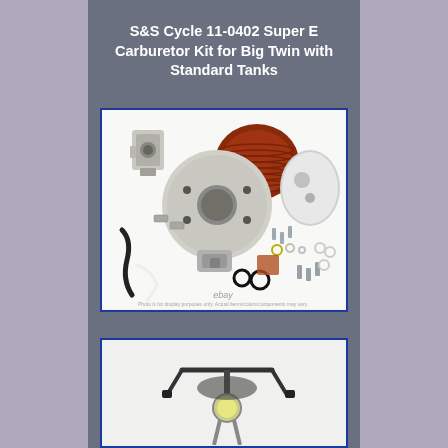S&S Cycle 11-0402 Super E Carburetor Kit for Big Twin with Standard Tanks
[Figure (photo): Product photo showing S&S Cycle Super E Carburetor Kit components laid out on white background including carburetor body, red round air filter, chrome teardrop air cleaner cover, mounting plate, intake manifold, hoses, clamps, gaskets, bolts, washers, and O-rings. eBay watermark visible at bottom.]
[Figure (photo): Partial photo showing a motorcycle with the carburetor kit installed, showing handlebars and front portion of the bike.]